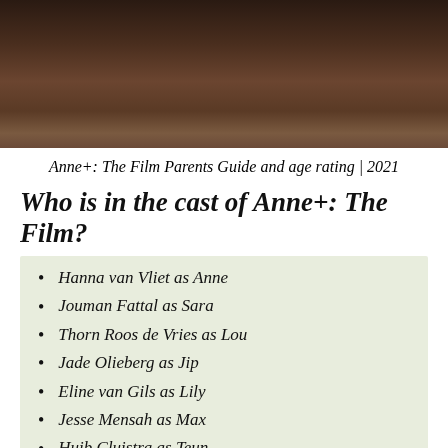[Figure (photo): Close-up photo of a person with dark hair, dark and moody background tones.]
Anne+: The Film Parents Guide and age rating | 2021
Who is in the cast of Anne+: The Film?
Hanna van Vliet as Anne
Jouman Fattal as Sara
Thorn Roos de Vries as Lou
Jade Olieberg as Jip
Eline van Gils as Lily
Jesse Mensah as Max
Huib Cluistra as Teun
Ayla Satijn as Maya
Amy van der Weerden as Daantje
Anne Chris Schulting as Stella